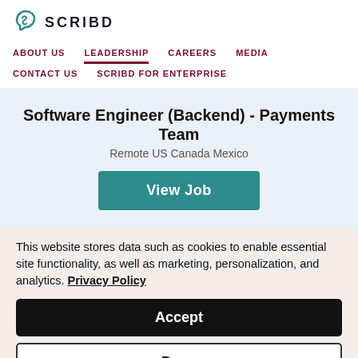SCRIBD
ABOUT US
LEADERSHIP
CAREERS
MEDIA
CONTACT US
SCRIBD FOR ENTERPRISE
Software Engineer (Backend) - Payments Team
Remote US Canada Mexico
View Job
This website stores data such as cookies to enable essential site functionality, as well as marketing, personalization, and analytics. Privacy Policy
Accept
Deny